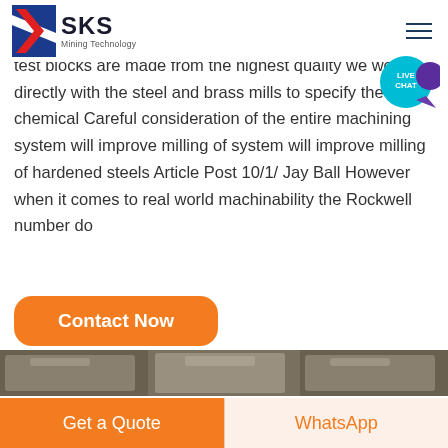SKS Mining Technology
test blocks are made from the highest quality we work directly with the steel and brass mills to specify the chemical Careful consideration of the entire machining system will improve milling of system will improve milling of hardened steels Article Post 10/1/ Jay Ball However when it comes to real world machinability the Rockwell number do
Contact Now
[Figure (photo): Photo of large rough metal blocks or castings, grey and dark coloured, stacked together]
Get a Quote
WhatsApp